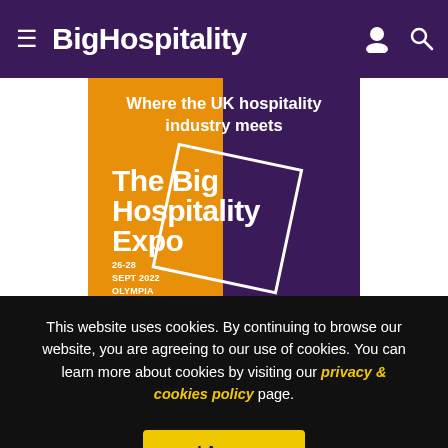BigHospitality
[Figure (illustration): The Big Hospitality Expo advertisement banner. Orange and purple background with text 'Where the UK hospitality industry meets' and 'The Big Hospitality Expo 26-28 SEPT 2022 OLYMPIA LONDON' inside a rotated diamond outline.]
This website uses cookies. By continuing to browse our website, you are agreeing to our use of cookies. You can learn more about cookies by visiting our privacy & cookies policy page.
I Agree